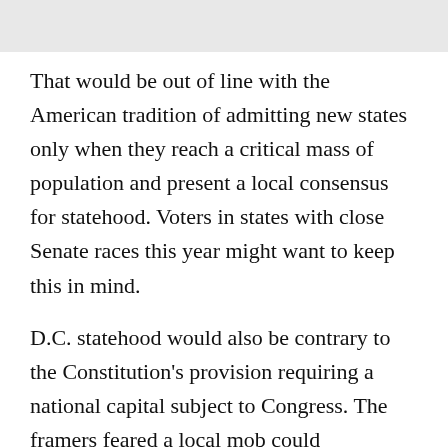That would be out of line with the American tradition of admitting new states only when they reach a critical mass of population and present a local consensus for statehood. Voters in states with close Senate races this year might want to keep this in mind.
D.C. statehood would also be contrary to the Constitution's provision requiring a national capital subject to Congress. The framers feared a local mob could overpower the federal government, as in London's Gordon riots in 1780 -- and as nearly happened in Lafayette Square